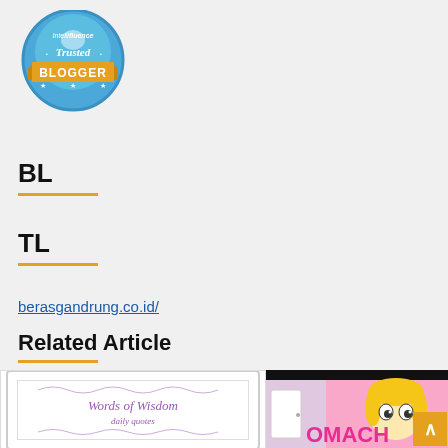[Figure (logo): Intellifluence Trusted Blogger badge — circular blue badge with gold BLOGGER ribbon and stars]
BL
TL
berasgandrung.co.id/
Related Article
[Figure (illustration): Words of Wisdom decorative card with ornate purple/lavender frame]
[Figure (illustration): Cartoon girl with blonde hair, colorful background, text OMACH visible]